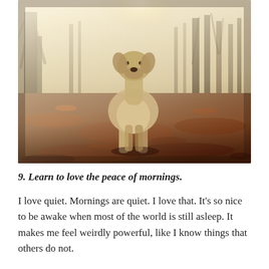[Figure (photo): A dog standing on a ground covered with autumn leaves in a park. Bare trees are visible in the background with a bright sky. The photo has a warm, vintage tone.]
9. Learn to love the peace of mornings.
I love quiet. Mornings are quiet. I love that. It’s so nice to be awake when most of the world is still asleep. It makes me feel weirdly powerful, like I know things that others do not.